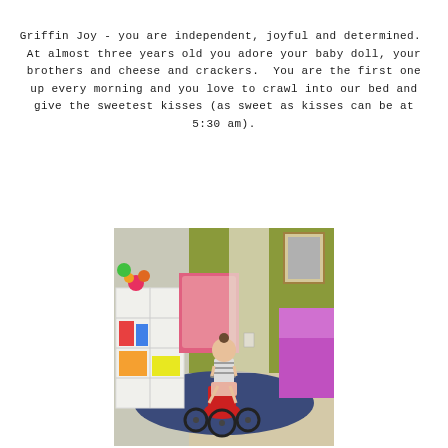Griffin Joy - you are independent, joyful and determined.  At almost three years old you adore your baby doll, your brothers and cheese and crackers.  You are the first one up every morning and you love to crawl into our bed and give the sweetest kisses (as sweet as kisses can be at 5:30 am).
[Figure (photo): Young toddler girl riding a red tricycle in a bedroom. The room has a green accent wall, white shelving unit with toys on the left, a pink bed headboard in the background, a framed picture on the wall, and a purple comforter on the right side. There is a dark blue area rug on the floor.]